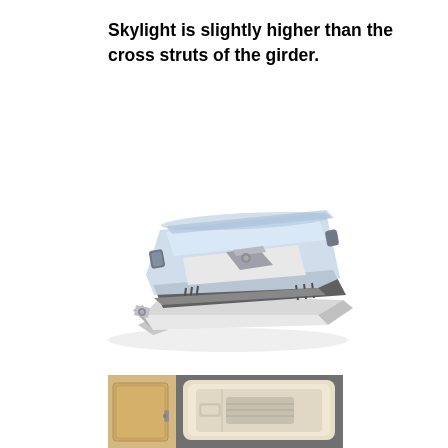Skylight is slightly higher than the cross struts of the girder.
[Figure (photo): A skylight unit shown in open/angled position with transparent polycarbonate dome and white plastic frame, viewed from a three-quarter perspective.]
[Figure (photo): Interior view of a skylight installed in a vehicle or caravan ceiling, showing the cream/beige interior surround and partially visible control mechanism.]